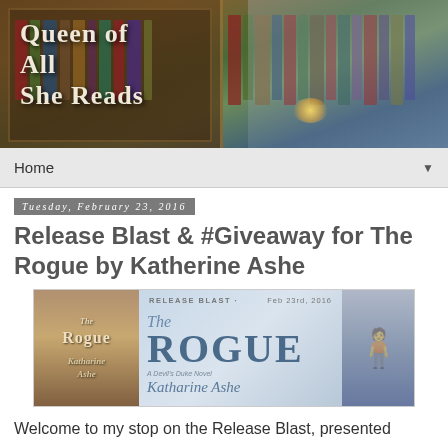[Figure (illustration): Blog header banner reading 'Queen of All She Reads' with a steampunk woman reading a glowing book in a library setting]
Home ▼
Tuesday, February 23, 2016
Release Blast & #Giveaway for The Rogue by Katherine Ashe
[Figure (illustration): Release Blast banner for The Rogue by Katharine Ashe, Feb 23rd 2016, showing book cover and a shirtless male figure]
Welcome to my stop on the Release Blast, presented